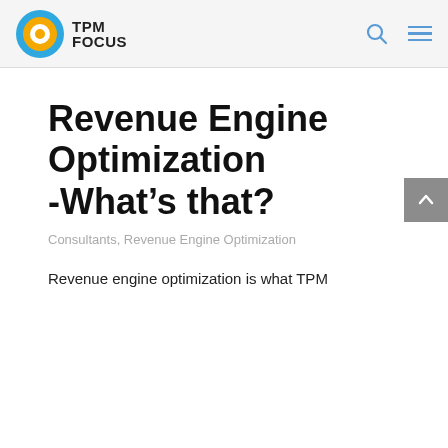TPM FOCUS
Revenue Engine Optimization -What’s that?
Consultants, Revenue Engine Optimization
Revenue engine optimization is what TPM